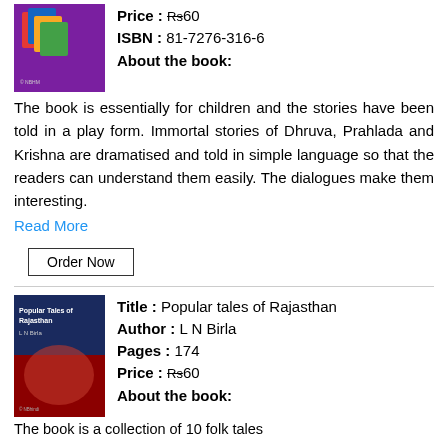Price : Rs60
ISBN : 81-7276-316-6
About the book:
The book is essentially for children and the stories have been told in a play form. Immortal stories of Dhruva, Prahlada and Krishna are dramatised and told in simple language so that the readers can understand them easily. The dialogues make them interesting.
Read More
Order Now
Title : Popular tales of Rajasthan
Author : L N Birla
Pages : 174
Price : Rs60
About the book:
The book is a collection of 10 folk tales...